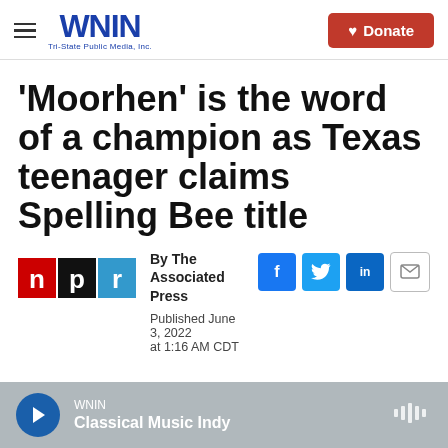WNIN Tri-State Public Media, Inc. | Donate
'Moorhen' is the word of a champion as Texas teenager claims Spelling Bee title
By The Associated Press
Published June 3, 2022 at 1:16 AM CDT
WNIN Classical Music Indy